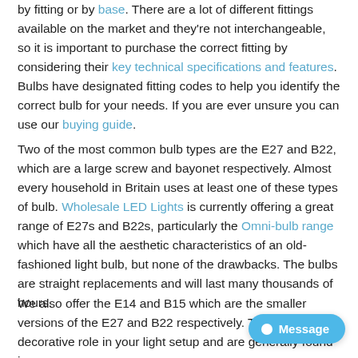by fitting or by base. There are a lot of different fittings available on the market and they're not interchangeable, so it is important to purchase the correct fitting by considering their key technical specifications and features. Bulbs have designated fitting codes to help you identify the correct bulb for your needs. If you are ever unsure you can use our buying guide.
Two of the most common bulb types are the E27 and B22, which are a large screw and bayonet respectively. Almost every household in Britain uses at least one of these types of bulb. Wholesale LED Lights is currently offering a great range of E27s and B22s, particularly the Omni-bulb range which have all the aesthetic characteristics of an old-fashioned light bulb, but none of the drawbacks. The bulbs are straight replacements and will last many thousands of hours.
We also offer the E14 and B15 which are the smaller versions of the E27 and B22 respectively. These fulfil more decorative role in your light setup and are generally found in